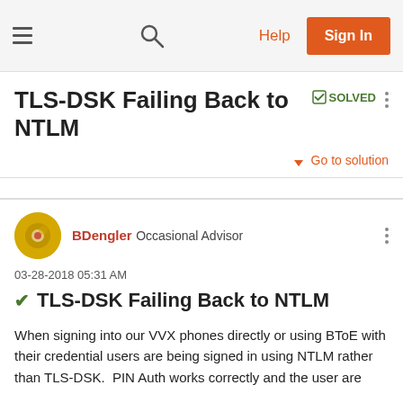Help  Sign In
TLS-DSK Failing Back to NTLM  ✔ SOLVED
Go to solution
BDengler Occasional Advisor
03-28-2018 05:31 AM
TLS-DSK Failing Back to NTLM
When signing into our VVX phones directly or using BToE with their credential users are being signed in using NTLM rather than TLS-DSK.  PIN Auth works correctly and the user are